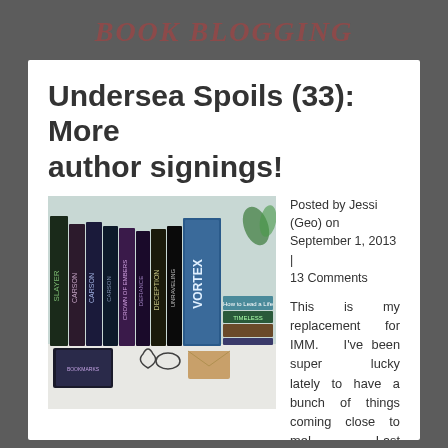Book Blogging
Undersea Spoils (33): More author signings!
[Figure (photo): Photo of a collection of books standing upright on a white surface, with bookmarks, cards and small items in front. Book spines visible include SLAYER, CARSON, DECEPTION, UNRAVELING, VORTEX and others.]
Posted by Jessi (Geo) on September 1, 2013 | 13 Comments
This is my replacement for IMM. I've been super lucky lately to have a bunch of things coming close to me! Last Saturday there was a signing for Doon at my local Books & Co, and Thursday CJ Redwine and Rae Carson came to Columbus